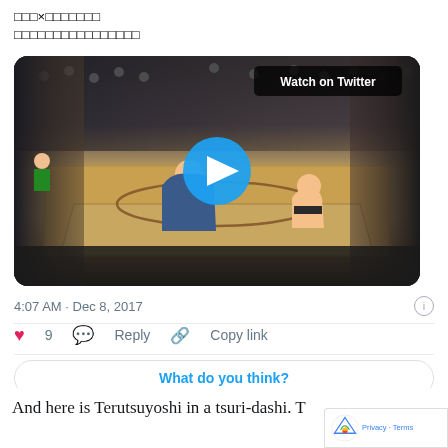□□□×□□□□□□□ □□□□□□□□□□□□□□□□
[Figure (screenshot): Twitter embedded video thumbnail showing a sumo wrestling match with a play button overlay and 'Watch on Twitter' badge. A sumo wrestler is visible on the dohyo (ring) surrounded by a large crowd. Timestamp: 4:07 AM · Dec 8, 2017.]
4:07 AM · Dec 8, 2017
9   Reply   Copy link
What do you think?
And here is Terutsuyoshi in a tsuri-dashi. T holdingiscim to dent at Ma kohito at Ut